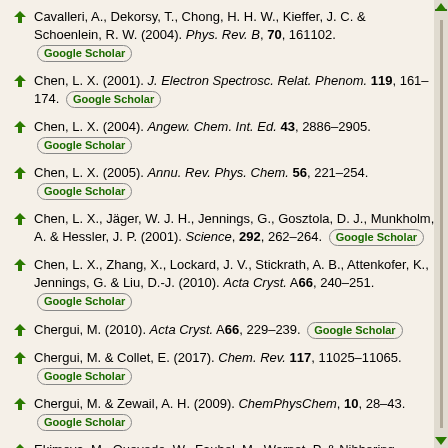Cavalleri, A., Dekorsy, T., Chong, H. H. W., Kieffer, J. C. & Schoenlein, R. W. (2004). Phys. Rev. B, 70, 161102. [Google Scholar]
Chen, L. X. (2001). J. Electron Spectrosc. Relat. Phenom. 119, 161–174. [Google Scholar]
Chen, L. X. (2004). Angew. Chem. Int. Ed. 43, 2886–2905. [Google Scholar]
Chen, L. X. (2005). Annu. Rev. Phys. Chem. 56, 221–254. [Google Scholar]
Chen, L. X., Jäger, W. J. H., Jennings, G., Gosztola, D. J., Munkholm, A. & Hessler, J. P. (2001). Science, 292, 262–264. [Google Scholar]
Chen, L. X., Zhang, X., Lockard, J. V., Stickrath, A. B., Attenkofer, K., Jennings, G. & Liu, D.-J. (2010). Acta Cryst. A66, 240–251. [Google Scholar]
Chergui, M. (2010). Acta Cryst. A66, 229–239. [Google Scholar]
Chergui, M. & Collet, E. (2017). Chem. Rev. 117, 11025–11065. [Google Scholar]
Chergui, M. & Zewail, A. H. (2009). ChemPhysChem, 10, 28–43. [Google Scholar]
Ekimova, M., Quevedo, W., Faubel, M., Wernet, P. & Nibbering,